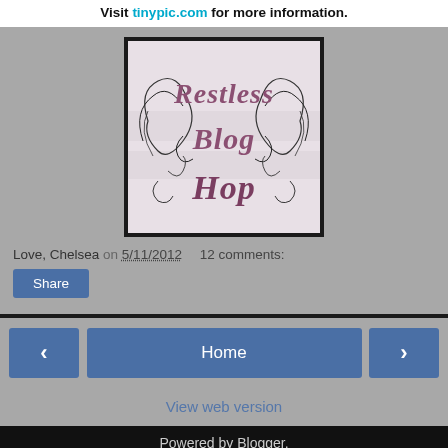Visit tinypic.com for more information.
[Figure (illustration): Restless Blog Hop logo — decorative script text reading 'Restless Blog Hop' in mauve/purple with black ornamental swirl and wing motifs on a light grey background, framed with a black border.]
Love, Chelsea on 5/11/2012    12 comments:
Share
Home
View web version
Powered by Blogger.